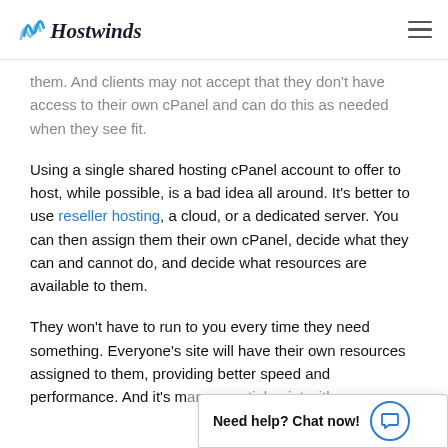Hostwinds
them. And clients may not accept that they don't have access to their own cPanel and can do this as needed when they see fit.
Using a single shared hosting cPanel account to offer to host, while possible, is a bad idea all around. It's better to use reseller hosting, a cloud, or a dedicated server. You can then assign them their own cPanel, decide what they can and cannot do, and decide what resources are available to them.
They won't have to run to you every time they need something. Everyone's site will have their own resources assigned to them, providing better speed and performance. And it's [an essential point with]